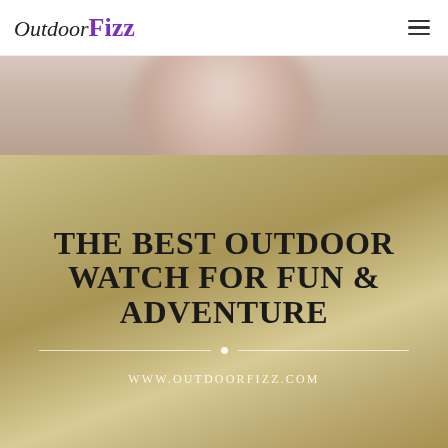OutdoorFizz
[Figure (photo): Partial cropped photo of a person's face/skin, showing only the lower forehead area, blurred background, beige/warm tones]
[Figure (infographic): Gold/tan gradient background banner with large bold serif uppercase text reading 'THE BEST OUTDOOR WATCH FOR FUN & ADVENTURE', decorative horizontal divider with center dot, and website URL 'WWW.OUTDOORFIZZ.COM' at bottom]